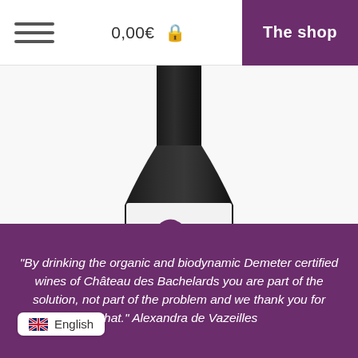0,00€  The shop
[Figure (photo): Dark wine bottle with a white label featuring a purple abstract fish or bird design, partially cropped at the bottom. The bottle has a dark neck and body.]
"By drinking the organic and biodynamic Demeter certified wines of Château des Bachelards you are part of the solution, not part of the problem and we thank you for that." Alexandra de Vazeilles
English